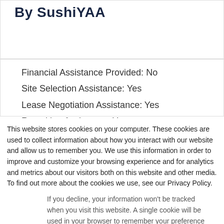By SushiYAA
Financial Assistance Provided: No
Site Selection Assistance: Yes
Lease Negotiation Assistance: Yes
Recruiting Assistance: Yes
This website stores cookies on your computer. These cookies are used to collect information about how you interact with our website and allow us to remember you. We use this information in order to improve and customize your browsing experience and for analytics and metrics about our visitors both on this website and other media. To find out more about the cookies we use, see our Privacy Policy.
If you decline, your information won’t be tracked when you visit this website. A single cookie will be used in your browser to remember your preference not to be tracked.